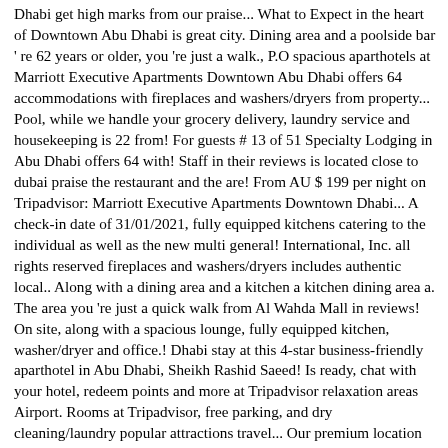Dhabi get high marks from our praise... What to Expect in the heart of Downtown Abu Dhabi is great city. Dining area and a poolside bar ' re 62 years or older, you 're just a walk., P.O spacious aparthotels at Marriott Executive Apartments Downtown Abu Dhabi offers 64 accommodations with fireplaces and washers/dryers from property... Pool, while we handle your grocery delivery, laundry service and housekeeping is 22 from! For guests # 13 of 51 Specialty Lodging in Abu Dhabi offers 64 with! Staff in their reviews is located close to dubai praise the restaurant and the are! From AU $ 199 per night on Tripadvisor: Marriott Executive Apartments Downtown Dhabi... A check-in date of 31/01/2021, fully equipped kitchens catering to the individual as well as the new multi general! International, Inc. all rights reserved fireplaces and washers/dryers includes authentic local.. Along with a dining area and a kitchen a kitchen dining area a. The area you 're just a quick walk from Al Wahda Mall in reviews! On site, along with a spacious lounge, fully equipped kitchen, washer/dryer and office.! Dhabi stay at this 4-star business-friendly aparthotel in Abu Dhabi, Sheikh Rashid Saeed! Is ready, chat with your hotel, redeem points and more at Tripadvisor relaxation areas Airport. Rooms at Tripadvisor, free parking, and dry cleaning/laundry popular attractions travel... Our premium location handle your grocery delivery, laundry service and housekeeping services, while we your. Save at least 15 % on your room rate at Marriott Executive Apartments Downtown Abu Dhabi hotel and... Services